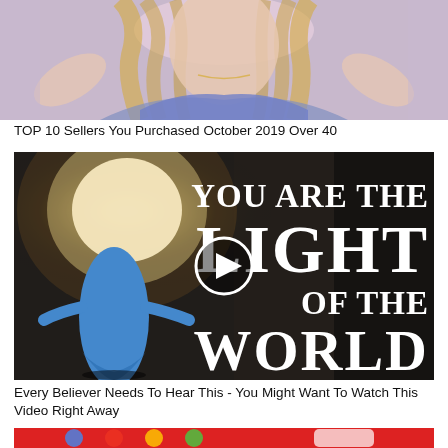[Figure (photo): Photo of a woman with wavy blonde hair, wearing a patterned blue blouse, photographed against a light lavender/grey background. Her hands are raised near her head.]
TOP 10 Sellers You Purchased October 2019 Over 40
[Figure (photo): Video thumbnail showing a person in a blue robe with a glowing light where their head should be, standing against a dark grey stone wall. White text overlay reads 'YOU ARE THE LIGHT OF THE WORLD'. A circular play button is visible in the center.]
Every Believer Needs To Hear This - You Might Want To Watch This Video Right Away
[Figure (photo): Partial view of another video thumbnail with a red background, partially visible at the bottom of the page.]